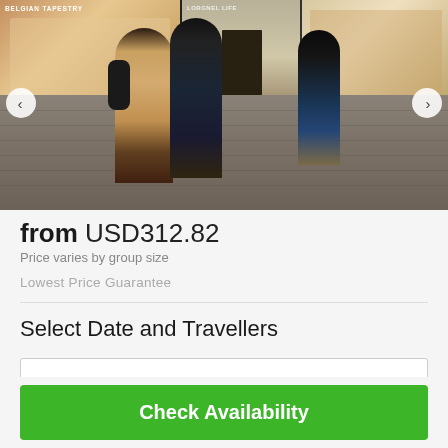[Figure (photo): Street scene in Belgium showing shoppers walking past Belgian Tapestry and other stores on a cobblestone street. Navigation arrows on left and right sides of the image.]
from USD312.82
Price varies by group size
Lowest Price Guarantee
Select Date and Travellers
Check Availability